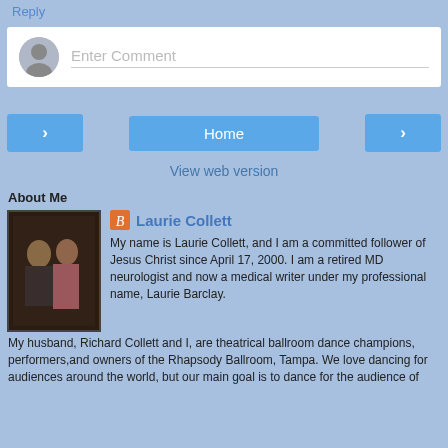Reply
[Figure (other): Comment input box with user avatar silhouette and 'Enter Comment' placeholder text]
[Figure (other): Navigation buttons: left arrow, Home, right arrow]
View web version
About Me
[Figure (photo): Profile photo of a couple (man and woman) in formal attire]
Laurie Collett
My name is Laurie Collett, and I am a committed follower of Jesus Christ since April 17, 2000. I am a retired MD neurologist and now a medical writer under my professional name, Laurie Barclay. My husband, Richard Collett and I, are theatrical ballroom dance champions, performers,and owners of the Rhapsody Ballroom, Tampa. We love dancing for audiences around the world, but our main goal is to dance for the audience of